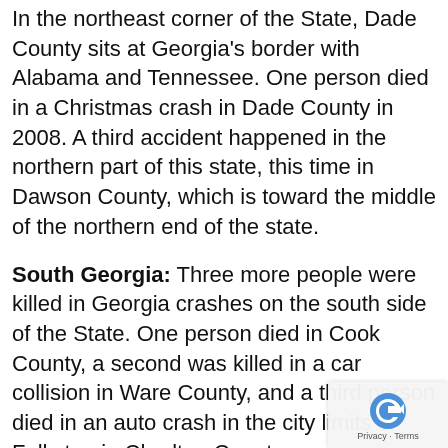In the northeast corner of the State, Dade County sits at Georgia's border with Alabama and Tennessee. One person died in a Christmas crash in Dade County in 2008. A third accident happened in the northern part of this state, this time in Dawson County, which is toward the middle of the northern end of the state.
South Georgia: Three more people were killed in Georgia crashes on the south side of the State. One person died in Cook County, a second was killed in a car collision in Ware County, and a third person died in an auto crash in the city limits of Folkston in Charlton County
Coastal Georgia: One person died in a car crash in the city of Pooler, which is in Chatham